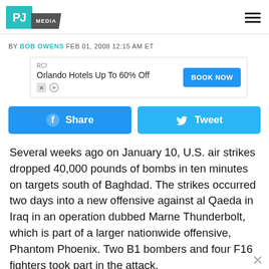PJ MEDIA
BY BOB OWENS FEB 01, 2008 12:15 AM ET
[Figure (other): Advertisement banner: RCI Orlando Hotels Up To 60% Off with BOOK NOW button]
[Figure (other): Social share buttons: Facebook Share and Twitter Tweet]
Several weeks ago on January 10, U.S. air strikes dropped 40,000 pounds of bombs in ten minutes on targets south of Baghdad. The strikes occurred two days into a new offensive against al Qaeda in Iraq in an operation dubbed Marne Thunderbolt, which is part of a larger nationwide offensive, Phantom Phoenix. Two B1 bombers and four F16 fighters took part in the attack.